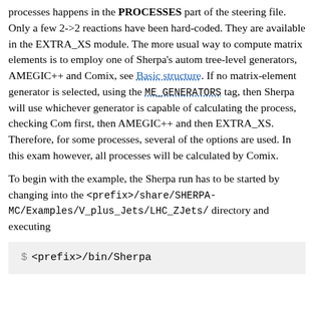processes happens in the PROCESSES part of the steering file. Only a few 2->2 reactions have been hard-coded. They are available in the EXTRA_XS module. The more usual way to compute matrix elements is to employ one of Sherpa's automatic tree-level generators, AMEGIC++ and Comix, see Basic structure. If no matrix-element generator is selected, using the ME_GENERATORS tag, then Sherpa will use whichever generator is capable of calculating the process, checking Comix first, then AMEGIC++ and then EXTRA_XS. Therefore, for some processes, several of the options are used. In this example, however, all processes will be calculated by Comix.
To begin with the example, the Sherpa run has to be started by changing into the <prefix>/share/SHERPA-MC/Examples/V_plus_Jets/LHC_ZJets/ directory and executing
$ <prefix>/bin/Sherpa